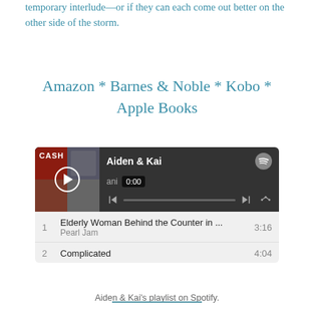temporary interlude—or if they can each come out better on the other side of the storm.
Amazon * Barnes & Noble * Kobo * Apple Books
[Figure (screenshot): Spotify playlist widget showing 'Aiden & Kai' playlist with album art, playback controls showing 0:00, and two tracks: 1. Elderly Woman Behind the Counter in ... by Pearl Jam (3:16), 2. Complicated (4:04)]
Aiden & Kai's playlist on Spotify.
[Figure (illustration): Partial cursive/script text on a light blue background, showing what appears to be the word 'ever' in decorative dark teal script lettering]